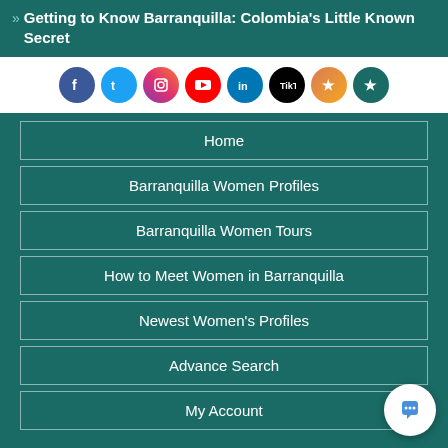» Getting to Know Barranquilla: Colombia's Little Known Secret
[Figure (infographic): Row of social media icon buttons: Facebook, Twitter, Instagram, YouTube, LinkedIn, TikTok, Yelp, and a green star/review icon]
Home
Barranquilla Women Profiles
Barranquilla Women Tours
How to Meet Women in Barranquilla
Newest Women's Profiles
Advance Search
My Account